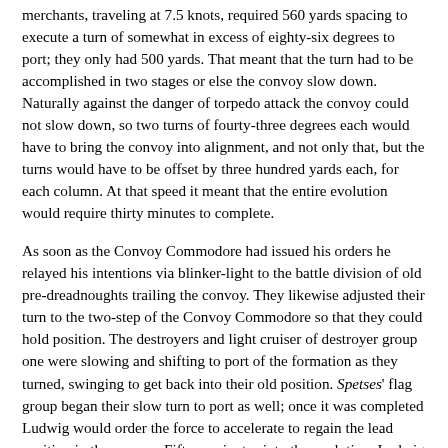merchants, traveling at 7.5 knots, required 560 yards spacing to execute a turn of somewhat in excess of eighty-six degrees to port; they only had 500 yards. That meant that the turn had to be accomplished in two stages or else the convoy slow down. Naturally against the danger of torpedo attack the convoy could not slow down, so two turns of fourty-three degrees each would have to bring the convoy into alignment, and not only that, but the turns would have to be offset by three hundred yards each, for each column. At that speed it meant that the entire evolution would require thirty minutes to complete.
As soon as the Convoy Commodore had issued his orders he relayed his intentions via blinker-light to the battle division of old pre-dreadnoughts trailing the convoy. They likewise adjusted their turn to the two-step of the Convoy Commodore so that they could hold position. The destroyers and light cruiser of destroyer group one were slowing and shifting to port of the formation as they turned, swinging to get back into their old position. Spetses' flag group began their slow turn to port as well; once it was completed Ludwig would order the force to accelerate to regain the lead position in the convoy. Fifteen minutes into the evolution, Ludwig ordered destroyer group two to execute its turn to port as well, which would leave it neatly to starboard of the convoy's main body, though the distance would have to be dressed a bit.